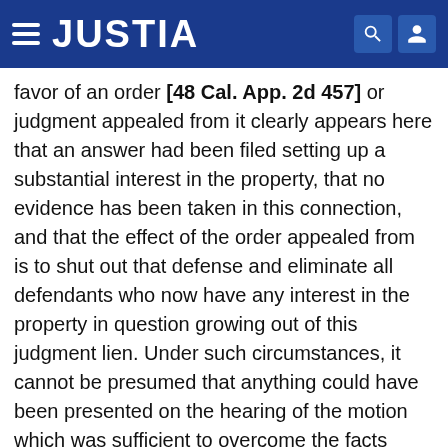JUSTIA
favor of an order [48 Cal. App. 2d 457] or judgment appealed from it clearly appears here that an answer had been filed setting up a substantial interest in the property, that no evidence has been taken in this connection, and that the effect of the order appealed from is to shut out that defense and eliminate all defendants who now have any interest in the property in question growing out of this judgment lien. Under such circumstances, it cannot be presumed that anything could have been presented on the hearing of the motion which was sufficient to overcome the facts disclosed by the record, and it must be held that the court erred in making this order. The same considerations apply to those portions of the order which struck out the previous order substituting the appellant in place of Neal and struck out the answer and complaint which had been filed. The order was in this respect erroneous